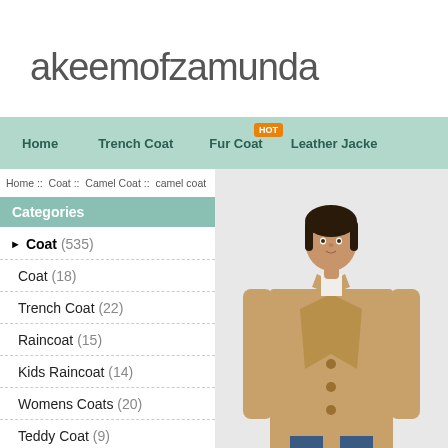akeemofzamunda
Home  Trench Coat  Fur Coat  Leather Jacket
Home :: Coat :: Camel Coat :: camel coat
Categories
Coat (535)
Coat (18)
Trench Coat (22)
Raincoat (15)
Kids Raincoat (14)
Womens Coats (20)
Teddy Coat (9)
[Figure (photo): Woman wearing a long camel coat over white top and jeans]